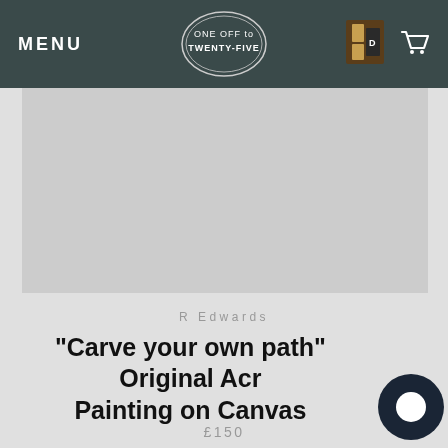MENU | ONE OFF to TWENTY-FIVE
[Figure (illustration): Artwork image area - large light grey rectangle representing painting placeholder]
R Edwards
"Carve your own path" Original Acrylic Painting on Canvas
£150